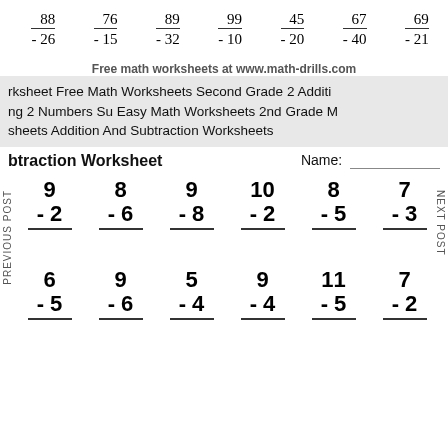| 88 | 76 | 89 | 99 | 45 | 67 | 69 |
| - 26 | - 15 | - 32 | - 10 | - 20 | - 40 | - 21 |
Free math worksheets at www.math-drills.com
ksheet Free Math Worksheets Second Grade 2 Addition 2 Numbers Su Easy Math Worksheets 2nd Grade M sheets Addition And Subtraction Worksheets
btraction Worksheet    Name: ___
| 9 | 8 | 9 | 10 | 8 | 7 |
| - 2 | - 6 | - 8 | - 2 | - 5 | - 3 |
| 6 | 9 | 5 | 9 | 11 | 7 |
| - 5 | - 6 | - 4 | - 4 | - 5 | - 2 |